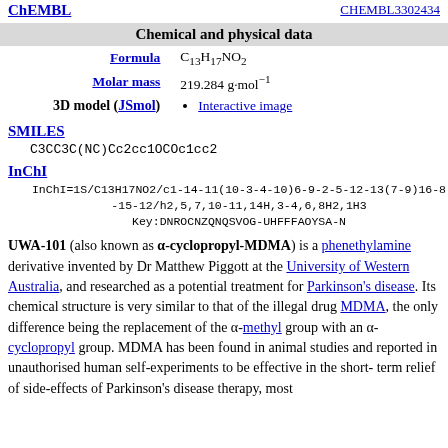ChEMBL / CHEMBL3302434
| Chemical and physical data |
| --- |
| Formula | C13H17NO2 |
| Molar mass | 219.284 g·mol−1 |
| 3D model (JSmol) | Interactive image |
SMILES
C3CC3C(NC)Cc2cc1OCOc1cc2
InChI
InChI=1S/C13H17NO2/c1-14-11(10-3-4-10)6-9-2-5-12-13(7-9)16-8-15-12/h2,5,7,10-11,14H,3-4,6,8H2,1H3
Key:DNROCNZQNQSVOG-UHFFFAOYSA-N
UWA-101 (also known as α-cyclopropyl-MDMA) is a phenethylamine derivative invented by Dr Matthew Piggott at the University of Western Australia, and researched as a potential treatment for Parkinson's disease. Its chemical structure is very similar to that of the illegal drug MDMA, the only difference being the replacement of the α-methyl group with an α-cyclopropyl group. MDMA has been found in animal studies and reported in unauthorised human self-experiments to be effective in the short-term relief of side-effects of Parkinson's disease therapy, most